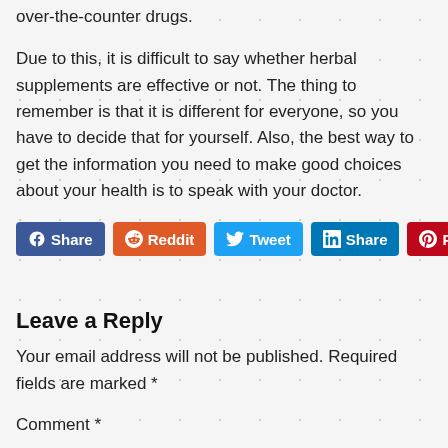over-the-counter drugs.
Due to this, it is difficult to say whether herbal supplements are effective or not. The thing to remember is that it is different for everyone, so you have to decide that for yourself. Also, the best way to get the information you need to make good choices about your health is to speak with your doctor.
[Figure (infographic): Social sharing buttons: Facebook Share, Reddit, Twitter Tweet, LinkedIn Share, Pinterest]
Leave a Reply
Your email address will not be published. Required fields are marked *
Comment *